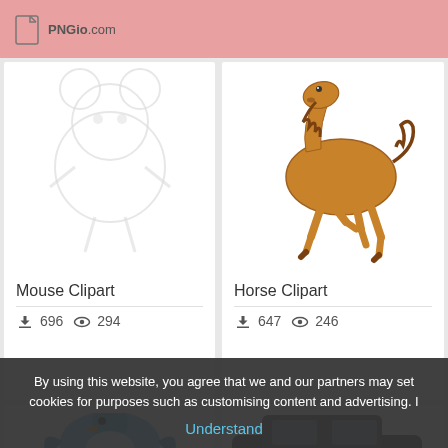PNGio.com
[Figure (illustration): Faded/transparent white mouse clipart illustration]
Mouse Clipart
696 downloads, 294 views
[Figure (illustration): Brown horse running clipart illustration]
Horse Clipart
647 downloads, 246 views
[Figure (illustration): Partial view of a blue bird/penguin clipart at bottom left]
[Figure (illustration): Partial view of a dark vehicle/car clipart at bottom right]
By using this website, you agree that we and our partners may set cookies for purposes such as customising content and advertising. I Understand